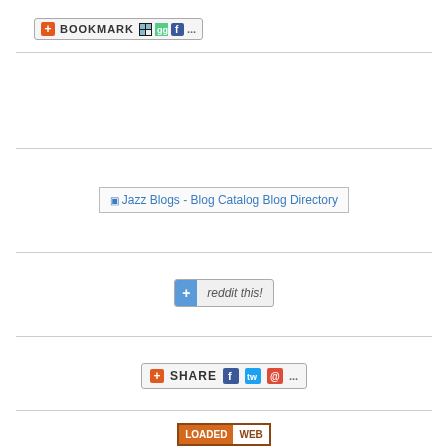[Figure (screenshot): Bookmark widget with orange plus icon, 'BOOKMARK' text, and social sharing icons (delicious, digg, facebook, etc.)]
[Figure (screenshot): Broken image placeholder: Jazz Blogs - Blog Catalog Blog Directory]
[Figure (screenshot): Reddit 'reddit this!' button with blue plus icon]
[Figure (screenshot): Share widget with orange plus icon, 'SHARE' text, facebook, twitter, email icons]
[Figure (screenshot): Loaded Web badge with orange/white styling]